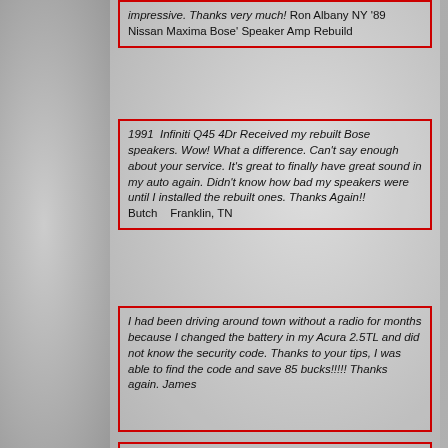impressive. Thanks very much! Ron Albany NY '89 Nissan Maxima Bose' Speaker Amp Rebuild
1991 Infiniti Q45 4Dr Received my rebuilt Bose speakers. Wow! What a difference. Can't say enough about your service. It's great to finally have great sound in my auto again. Didn't know how bad my speakers were until I installed the rebuilt ones. Thanks Again!! Butch   Franklin, TN
I had been driving around town without a radio for months because I changed the battery in my Acura 2.5TL and did not know the security code. Thanks to your tips, I was able to find the code and save 85 bucks!!!!! Thanks again. James
Thank you for the prompt email reply and the great information. My stereo is on the way to you via UPS. I will give you the tracking number if you need it. Please let me know when it arrives and what you find out about what is wrong with it. If you need any information at all just email me and I will get back to you very quickly. By the way I had emailed over a dozen other online repair shops and choose you because you sounded